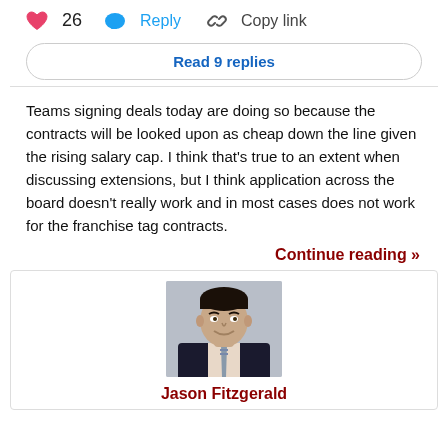[Figure (screenshot): Social media interaction bar with heart icon showing 26 likes, Reply button with speech bubble icon, and Copy link button with chain link icon]
Read 9 replies
Teams signing deals today are doing so because the contracts will be looked upon as cheap down the line given the rising salary cap. I think that's true to an extent when discussing extensions, but I think application across the board doesn't really work and in most cases does not work for the franchise tag contracts.
Continue reading »
[Figure (photo): Headshot photo of Jason Fitzgerald, a man in a dark suit with light shirt and patterned tie, smiling, with gray background]
Jason Fitzgerald